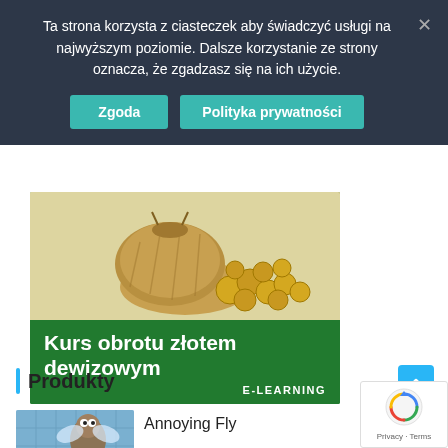Ta strona korzysta z ciasteczek aby świadczyć usługi na najwyższym poziomie. Dalsze korzystanie ze strony oznacza, że zgadzasz się na ich użycie.
Zgoda
Polityka prywatności
[Figure (photo): Advertisement banner for 'Kurs obrotu złotem dewizowym' e-learning course. Shows a burlap sack spilling gold coins on a white background, with green background and white bold text.]
Kurs obrotu złotem dewizowym
E-LEARNING
Produkty
Annoying Fly
[Figure (illustration): Annoying Fly game thumbnail — cartoon fly character with 'ANNOYING FLY' logo on blue tiled background with circular Crisp chat icon overlay.]
[Figure (logo): Google reCAPTCHA badge bottom right corner. Shows recycling arrow logo with 'Privacy · Terms' text.]